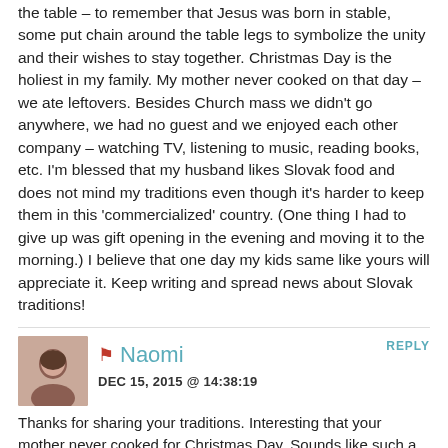the table – to remember that Jesus was born in stable, some put chain around the table legs to symbolize the unity and their wishes to stay together. Christmas Day is the holiest in my family. My mother never cooked on that day – we ate leftovers. Besides Church mass we didn't go anywhere, we had no guest and we enjoyed each other company – watching TV, listening to music, reading books, etc. I'm blessed that my husband likes Slovak food and does not mind my traditions even though it's harder to keep them in this 'commercialized' country. (One thing I had to give up was gift opening in the evening and moving it to the morning.) I believe that one day my kids same like yours will appreciate it. Keep writing and spread news about Slovak traditions!
Naomi
DEC 15, 2015 @ 14:38:19
REPLY
Thanks for sharing your traditions. Interesting that your mother never cooked for Christmas Day. Sounds like such a peaceful Christmas, as opposed to all the commercialization. And yes, I don't think kids appreciate